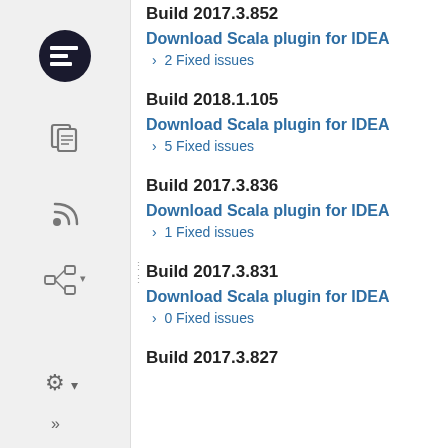Build 2017.3.852
Download Scala plugin for IDEA
2 Fixed issues
Build 2018.1.105
Download Scala plugin for IDEA
5 Fixed issues
Build 2017.3.836
Download Scala plugin for IDEA
1 Fixed issues
Build 2017.3.831
Download Scala plugin for IDEA
0 Fixed issues
Build 2017.3.827